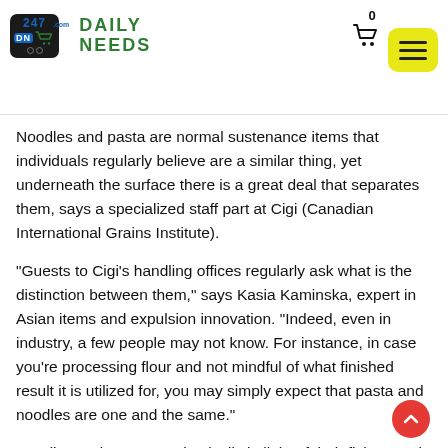247 Daily Needs
Noodles and pasta are normal sustenance items that individuals regularly believe are a similar thing, yet underneath the surface there is a great deal that separates them, says a specialized staff part at Cigi (Canadian International Grains Institute).
“Guests to Cigi’s handling offices regularly ask what is the distinction between them,” says Kasia Kaminska, expert in Asian items and expulsion innovation. “Indeed, even in industry, a few people may not know. For instance, in case you’re processing flour and not mindful of what finished result it is utilized for, you may simply expect that pasta and noodles are one and the same.”
Noodles and pasta vary basically in light of their fixings and the kind of preparing included, Kaminska says. Noodles are normally made with flour processed from regular wheat. Pasta is handled from durum semolina, which is scarcer than average flour. In any